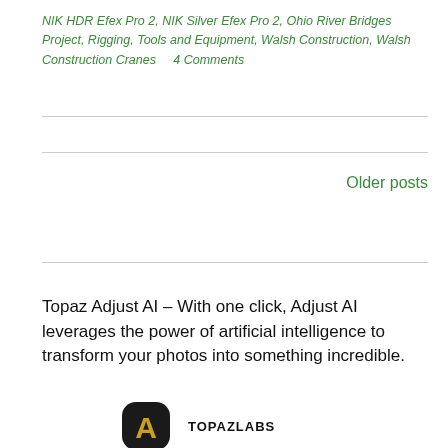NIK HDR Efex Pro 2, NIK Silver Efex Pro 2, Ohio River Bridges Project, Rigging, Tools and Equipment, Walsh Construction, Walsh Construction Cranes    4 Comments
Older posts
Topaz Adjust AI – With one click, Adjust AI leverages the power of artificial intelligence to transform your photos into something incredible.
[Figure (logo): Topaz Labs logo: round dark shape with orange/gold A letter, beside text TOPAZLABS]